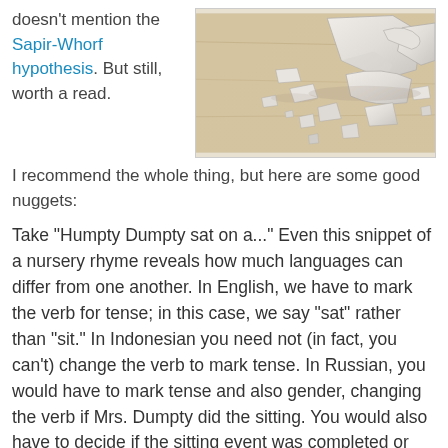doesn't mention the Sapir-Whorf hypothesis. But still, worth a read.
[Figure (photo): A broken white cup or bowl with ceramic shards scattered on a wooden surface]
I recommend the whole thing, but here are some good nuggets:
Take "Humpty Dumpty sat on a..." Even this snippet of a nursery rhyme reveals how much languages can differ from one another. In English, we have to mark the verb for tense; in this case, we say "sat" rather than "sit." In Indonesian you need not (in fact, you can't) change the verb to mark tense. In Russian, you would have to mark tense and also gender, changing the verb if Mrs. Dumpty did the sitting. You would also have to decide if the sitting event was completed or not. If our ovoid hero sat on the wall for the entire time he was meant to, it would be a different form of the verb than if, say, he had a great fall.
In Turkish, you would have to include in the verb how you